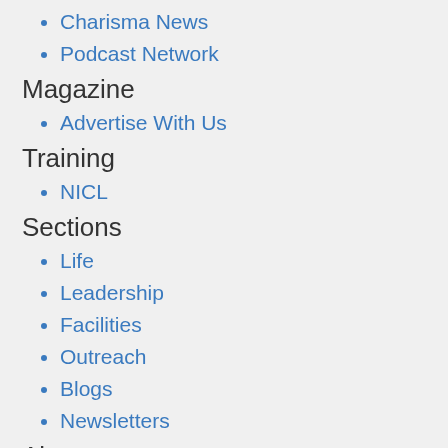Charisma News
Podcast Network
Magazine
Advertise With Us
Training
NICL
Sections
Life
Leadership
Facilities
Outreach
Blogs
Newsletters
About